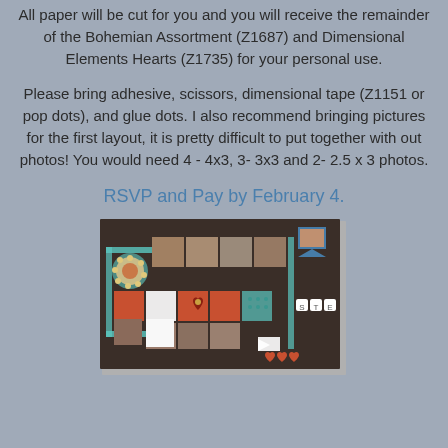All paper will be cut for you and you will receive the remainder of the Bohemian Assortment (Z1687) and Dimensional Elements Hearts (Z1735) for your personal use.
Please bring adhesive, scissors, dimensional tape (Z1151 or pop dots), and glue dots. I also recommend bringing pictures for the first layout, it is pretty difficult to put together with out photos!  You would need 4 - 4x3, 3- 3x3 and 2- 2.5 x 3 photos.
RSVP and Pay by February 4.
[Figure (photo): A photo of a scrapbook layout on a dark brown background featuring multiple family photos arranged in a grid pattern with decorative elements including orange/terracotta squares, teal patterned paper strips, letter tiles spelling a name, heart embellishments, and a banner/flag element.]